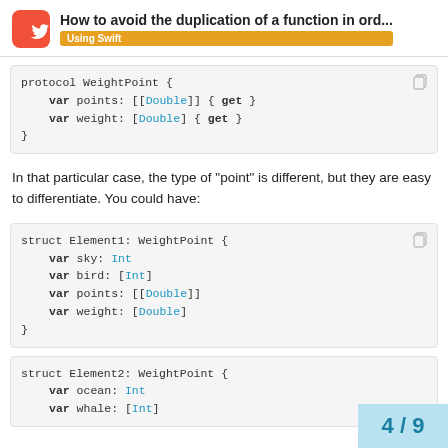How to avoid the duplication of a function in ord... | Using Swift
[Figure (screenshot): Code block showing protocol WeightPoint with var points: [[Double]] { get } and var weight: [Double] { get }]
In that particular case, the type of “point” is different, but they are easy to differentiate. You could have:
[Figure (screenshot): Code block showing struct Element1: WeightPoint with var sky: Int, var bird: [Int], var points: [[Double]], var weight: [Double]]
[Figure (screenshot): Code block showing struct Element2: WeightPoint with var ocean: Int, var whale: [Int]]
4 / 9